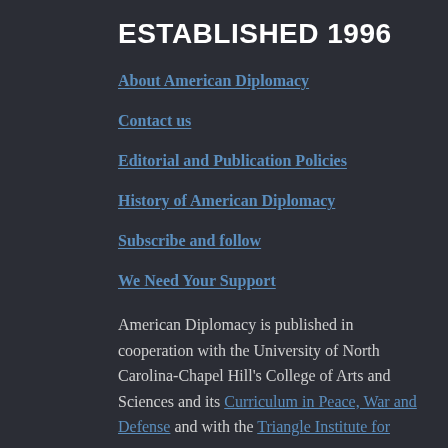ESTABLISHED 1996
About American Diplomacy
Contact us
Editorial and Publication Policies
History of American Diplomacy
Subscribe and follow
We Need Your Support
American Diplomacy is published in cooperation with the University of North Carolina-Chapel Hill’s College of Arts and Sciences and its Curriculum in Peace, War and Defense and with the Triangle Institute for